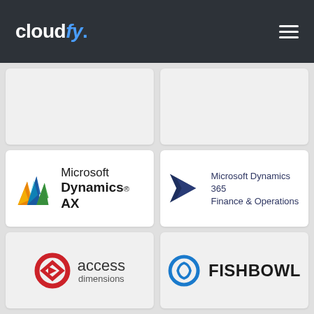cloudfy.
[Figure (logo): Microsoft Dynamics AX logo with colorful triangular mountain graphic]
[Figure (logo): Microsoft Dynamics 365 Finance & Operations logo with dark blue arrow/chevron graphic]
[Figure (logo): Access Dimensions logo with red circular eye/diamond icon]
[Figure (logo): Fishbowl logo with blue circular icon]